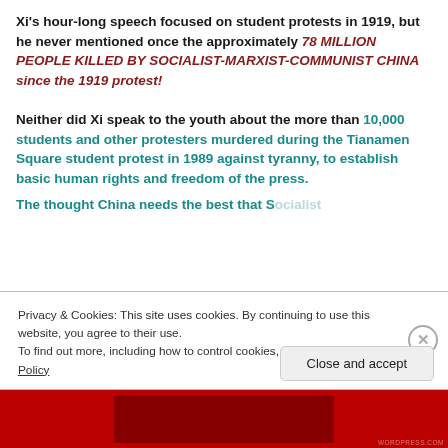Xi's hour-long speech focused on student protests in 1919, but he never mentioned once the approximately 78 MILLION PEOPLE KILLED BY SOCIALIST-MARXIST-COMMUNIST CHINA since the 1919 protest!
Neither did Xi speak to the youth about the more than 10,000 students and other protesters murdered during the Tianamen Square student protest in 1989 against tyranny, to establish basic human rights and freedom of the press.
The thought China needs the best that Socialist...
Privacy & Cookies: This site uses cookies. By continuing to use this website, you agree to their use. To find out more, including how to control cookies, see here: Cookie Policy
Close and accept